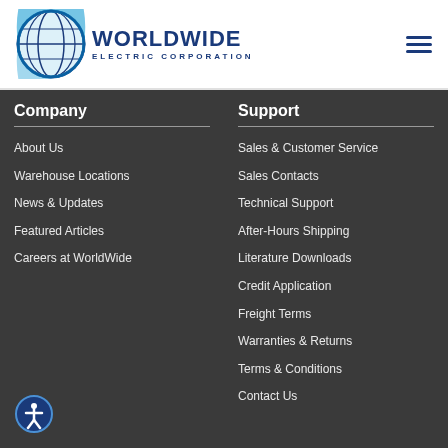[Figure (logo): Worldwide Electric Corporation logo with globe icon and blue text]
Company
About Us
Warehouse Locations
News & Updates
Featured Articles
Careers at WorldWide
Support
Sales & Customer Service
Sales Contacts
Technical Support
After-Hours Shipping
Literature Downloads
Credit Application
Freight Terms
Warranties & Returns
Terms & Conditions
Contact Us